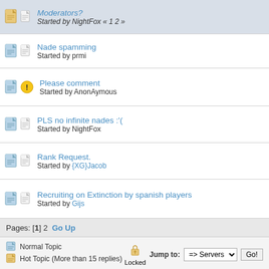Moderators? — Started by NightFox « 1 2 »
Nade spamming — Started by prmi
Please comment — Started by AnonAymous
PLS no infinite nades :'( — Started by NightFox
Rank Request. — Started by {XG}Jacob
Recruiting on Extinction by spanish players — Started by Gijs
Pages: [1] 2  Go Up
Normal Topic | Hot Topic (More than 15 replies) | Locked | Jump to: => Servers | Go!